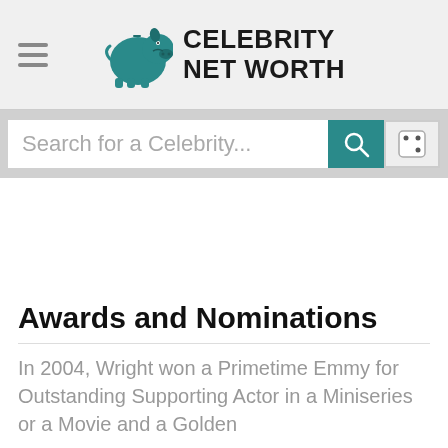Celebrity Net Worth
Search for a Celebrity...
Awards and Nominations
In 2004, Wright won a Primetime Emmy for Outstanding Supporting Actor in a Miniseries or a Movie and a Golden